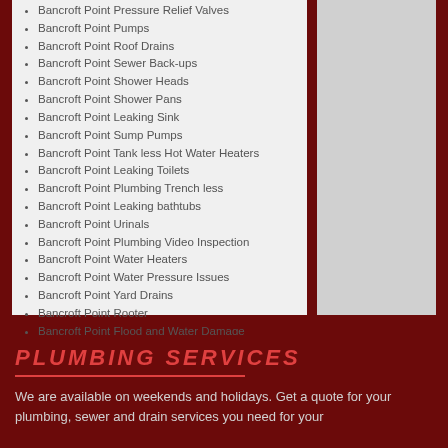Bancroft Point Pressure Relief Valves
Bancroft Point Pumps
Bancroft Point Roof Drains
Bancroft Point Sewer Back-ups
Bancroft Point Shower Heads
Bancroft Point Shower Pans
Bancroft Point Leaking Sink
Bancroft Point Sump Pumps
Bancroft Point Tank less Hot Water Heaters
Bancroft Point Leaking Toilets
Bancroft Point Plumbing Trench less
Bancroft Point Leaking bathtubs
Bancroft Point Urinals
Bancroft Point Plumbing Video Inspection
Bancroft Point Water Heaters
Bancroft Point Water Pressure Issues
Bancroft Point Yard Drains
Bancroft Point Rooter
Bancroft Point Flood and Water Damage
PLUMBING SERVICES
We are available on weekends and holidays. Get a quote for your plumbing, sewer and drain services you need for your